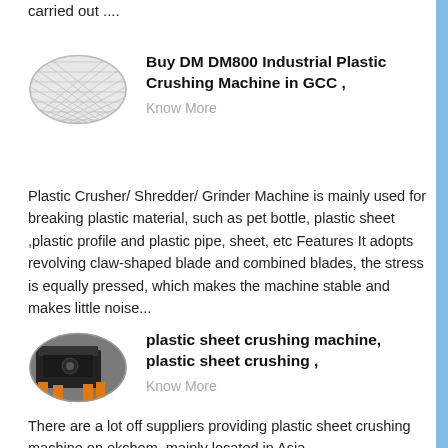carried out ....
Buy DM DM800 Industrial Plastic Crushing Machine in GCC ,
Know More
[Figure (photo): Oval thumbnail image of a wire mesh / screen grid product]
Plastic Crusher/ Shredder/ Grinder Machine is mainly used for breaking plastic material, such as pet bottle, plastic sheet ,plastic profile and plastic pipe, sheet, etc Features It adopts revolving claw-shaped blade and combined blades, the stress is equally pressed, which makes the machine stable and makes little noise...
plastic sheet crushing machine, plastic sheet crushing ,
Know More
[Figure (photo): Oval thumbnail image of a plastic sheet crushing machine, dark colored industrial equipment on orange/yellow supports]
There are a lot off suppliers providing plastic sheet crushing machine on okchem, mainly located in Asia